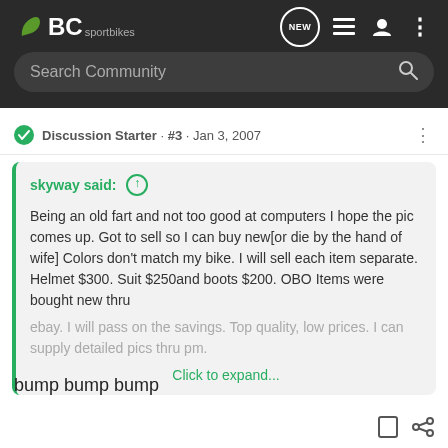BC sportbikes — Search Community
Discussion Starter · #3 · Jan 3, 2007
skyway said: ↑
 Being an old fart and not too good at computers I hope the pic comes up. Got to sell so I can buy new[or die by the hand of wife] Colors don't match my bike. I will sell each item separate. Helmet $300. Suit $250and boots $200. OBO Items were bought new thru ebay. I will pass on the savings. Top quality, low prices. I can supply detailed pics thru pm.
Click to expand...
bump bump bump